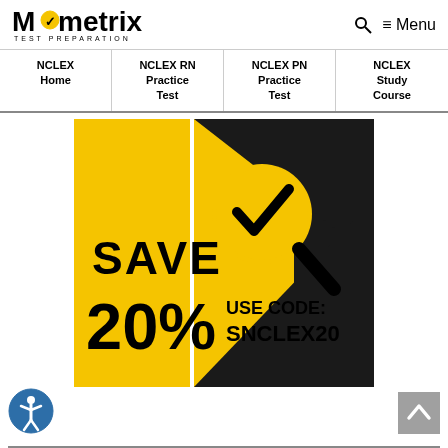Mometrix TEST PREPARATION
| NCLEX Home | NCLEX RN Practice Test | NCLEX PN Practice Test | NCLEX Study Course |
| --- | --- | --- | --- |
[Figure (infographic): Yellow and black promotional banner: SAVE 20% USE CODE: SNCLEX20, with a yellow circle containing a black checkmark magnifier logo]
[Figure (logo): Accessibility icon - circular blue button with person icon]
[Figure (other): Back to top button - grey square with upward arrow]